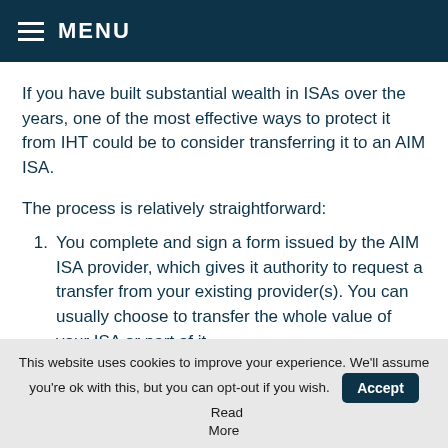MENU
If you have built substantial wealth in ISAs over the years, one of the most effective ways to protect it from IHT could be to consider transferring it to an AIM ISA.
The process is relatively straightforward:
1. You complete and sign a form issued by the AIM ISA provider, which gives it authority to request a transfer from your existing provider(s). You can usually choose to transfer the whole value of your ISA or part of it.
2. Your investments will typically be liquidated and
This website uses cookies to improve your experience. We'll assume you're ok with this, but you can opt-out if you wish. Accept Read More